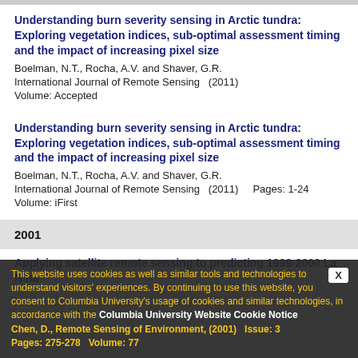Understanding burn severity sensing in Arctic tundra: Exploring vegetation indices, sub-optimal assessment timing and the impact of increasing pixel size
Boelman, N.T., Rocha, A.V. and Shaver, G.R.
International Journal of Remote Sensing  (2011)
Volume: Accepted
Understanding burn severity sensing in Arctic tundra: Exploring vegetation indices, sub-optimal assessment timing and the impact of increasing pixel size
Boelman, N.T., Rocha, A.V. and Shaver, G.R.
International Journal of Remote Sensing  (2011)    Pages: 1-24
Volume: iFirst
2001
Applying satellite remote sensing to predicting 1999-2000 La Nina
Chen, D., Remote Sensing of Environment, (2001)   Issue: 3   Pages: 275-278   Volume: 77